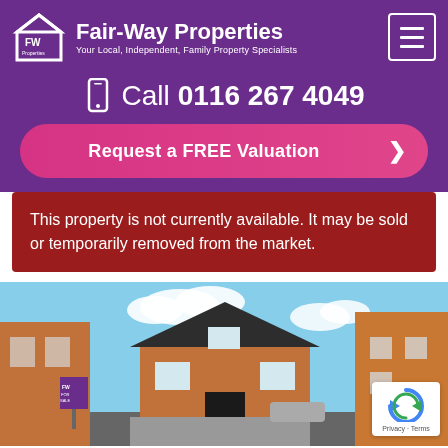[Figure (logo): Fair-Way Properties logo with house icon containing FW initials, brand name and tagline, hamburger menu button on the right]
Call 0116 267 4049
Request a FREE Valuation
This property is not currently available. It may be sold or temporarily removed from the market.
[Figure (photo): Exterior photo of a red-brick detached house on a residential street under blue skies with clouds. For sale board visible. reCAPTCHA badge with Privacy · Terms text in bottom right corner.]